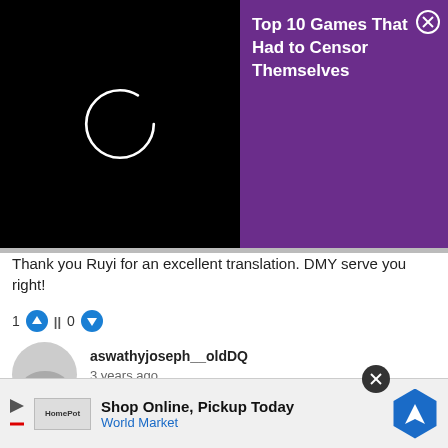[Figure (screenshot): Video player with black background showing a white loading spinner circle]
[Figure (screenshot): Purple advertisement banner with text 'Top 10 Games That Had to Censor Themselves' and an X close button]
Thank you Ruyi for an excellent translation. DMY serve you right!
1  ||  0
aswathyjoseph__oldDQ
3 years ago
yes she totally requires desd6
0  ||  0
kaya__oldDQ
3 years ago
[Figure (screenshot): Bottom advertisement: Shop Online, Pickup Today - World Market with navigation icon]